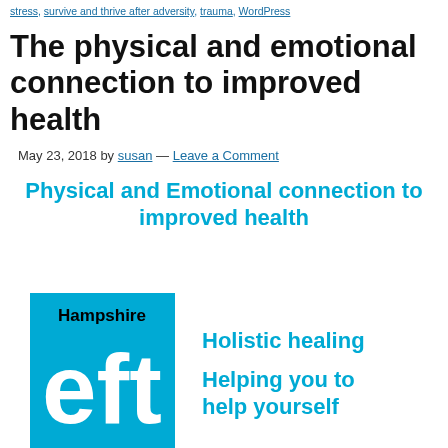stress, survive and thrive after adversity, trauma, WordPress
The physical and emotional connection to improved health
May 23, 2018 by susan — Leave a Comment
Physical and Emotional connection to improved health
[Figure (logo): Hampshire EFT logo — blue square with white 'eft' letters and 'Hampshire' text above, alongside 'Holistic healing' and 'Helping you to help yourself' text in cyan]